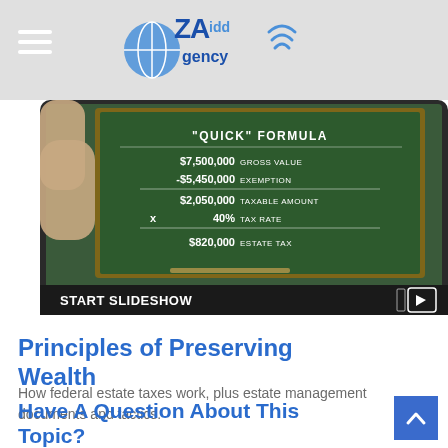Zaida Agency logo
[Figure (screenshot): Tablet device displaying a chalkboard with 'QUICK FORMULA' for estate tax calculation: $7,500,000 Gross Value, -$5,450,000 Exemption, $2,050,000 Taxable Amount, x 40% Tax Rate, = $820,000 Estate Tax. Bottom bar reads START SLIDESHOW with a play icon.]
Principles of Preserving Wealth
How federal estate taxes work, plus estate management documents and tactics.
Have A Question About This Topic?